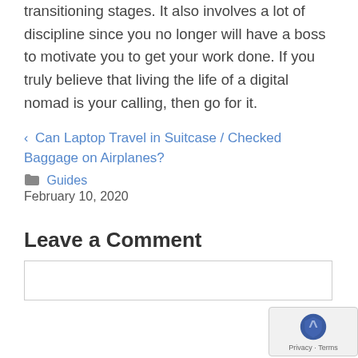transitioning stages. It also involves a lot of discipline since you no longer will have a boss to motivate you to get your work done. If you truly believe that living the life of a digital nomad is your calling, then go for it.
< Can Laptop Travel in Suitcase / Checked Baggage on Airplanes?
Guides
February 10, 2020
Leave a Comment